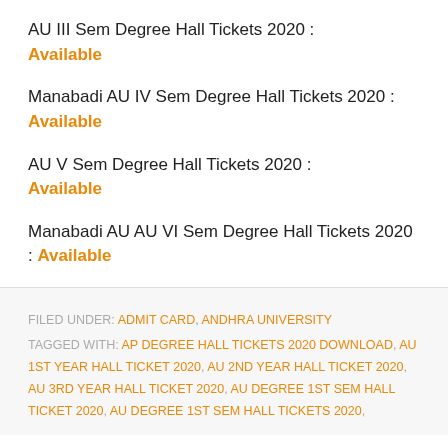AU III Sem Degree Hall Tickets 2020 : Available
Manabadi AU IV Sem Degree Hall Tickets 2020 : Available
AU V Sem Degree Hall Tickets 2020 : Available
Manabadi AU AU VI Sem Degree Hall Tickets 2020 : Available
FILED UNDER: ADMIT CARD, ANDHRA UNIVERSITY
TAGGED WITH: AP DEGREE HALL TICKETS 2020 DOWNLOAD, AU 1ST YEAR HALL TICKET 2020, AU 2ND YEAR HALL TICKET 2020, AU 3RD YEAR HALL TICKET 2020, AU DEGREE 1ST SEM HALL TICKET 2020, AU DEGREE 1ST SEM HALL TICKETS 2020,